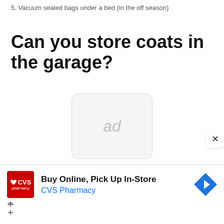5. Vacuum sealed bags under a bed (in the off season)
Can you store coats in the garage?
[Figure (other): Ad placeholder box with rounded corners showing the text 'ad' in light gray]
[Figure (other): CVS Pharmacy advertisement banner: 'Buy Online, Pick Up In-Store / CVS Pharmacy' with CVS logo and navigation arrow icon]